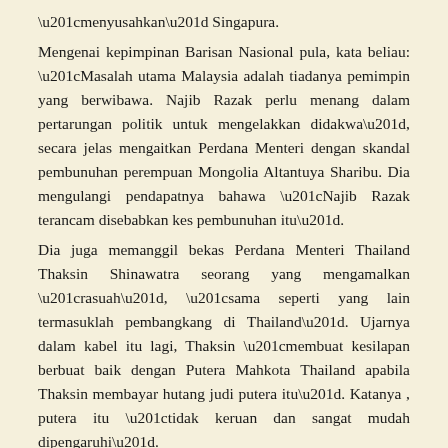“menyusahkan” Singapura.
Mengenai kepimpinan Barisan Nasional pula, kata beliau: “Masalah utama Malaysia adalah tiadanya pemimpin yang berwibawa. Najib Razak perlu menang dalam pertarungan politik untuk mengelakkan didakwa”, secara jelas mengaitkan Perdana Menteri dengan skandal pembunuhan perempuan Mongolia Altantuya Sharibu. Dia mengulangi pendapatnya bahawa “Najib Razak terancam disebabkan kes pembunuhan itu”.
Dia juga memanggil bekas Perdana Menteri Thailand Thaksin Shinawatra seorang yang mengamalkan “rasuah”, “sama seperti yang lain termasuklah pembangkang di Thailand”. Ujarnya dalam kabel itu lagi, Thaksin “membuat kesilapan berbuat baik dengan Putera Mahkota Thailand apabila Thaksin membayar hutang judi putera itu”. Katanya , putera itu “tidak keruan dan sangat mudah dipengaruhi”.
Komen-komen yang lain termasuklah kenyataan